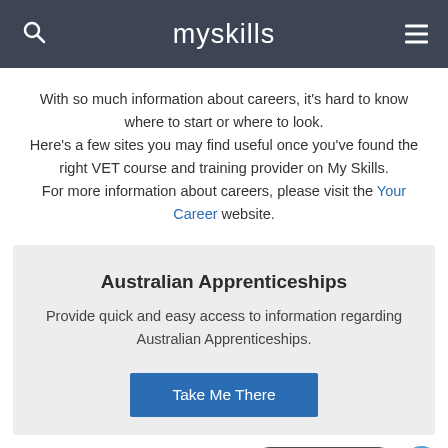myskills
With so much information about careers, it's hard to know where to start or where to look. Here's a few sites you may find useful once you've found the right VET course and training provider on My Skills. For more information about careers, please visit the Your Career website.
Australian Apprenticeships
Provide quick and easy access to information regarding Australian Apprenticeships.
Take Me There
Feedback